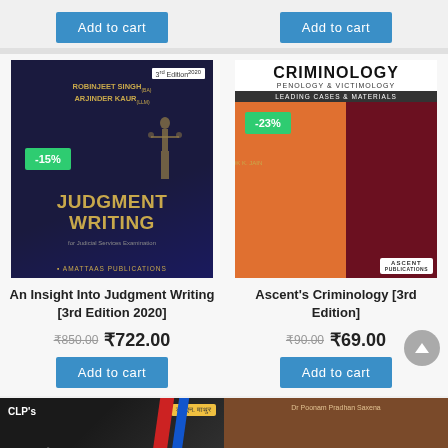[Figure (illustration): Add to cart button (top left, partially visible product above)]
[Figure (illustration): Add to cart button (top right, partially visible product above)]
[Figure (photo): Book cover: An Insight Into Judgment Writing [3rd Edition 2020] by Robinjeet Singh and Arjinder Kaur. Dark navy background with golden title text. -15% discount badge.]
An Insight Into Judgment Writing [3rd Edition 2020]
₹850.00 ₹722.00
[Figure (illustration): Add to cart button for Judgment Writing book]
[Figure (photo): Book cover: Ascent's Criminology [3rd Edition] - Criminology Penology & Victimology, Leading Cases & Materials by Dr. Ashok K. Jain. Yellow, orange, maroon cover with -23% badge.]
Ascent's Criminology [3rd Edition]
₹90.00 ₹69.00
[Figure (illustration): Add to cart button for Criminology book]
[Figure (photo): Book cover: CLP's All India (in Hindi) by Dr. N. Mathur, dark cover with Hindi title text]
[Figure (photo): Book cover: partially visible book by Dr Poonam Pradhan Saxena, brown cover]